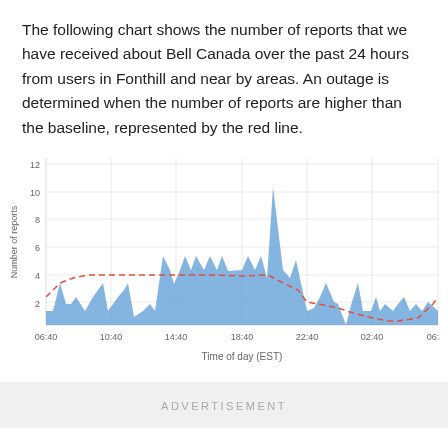The following chart shows the number of reports that we have received about Bell Canada over the past 24 hours from users in Fonthill and near by areas. An outage is determined when the number of reports are higher than the baseline, represented by the red line.
[Figure (area-chart): Area chart showing Bell Canada outage reports over 24 hours with a red dashed baseline. Peak around 20:40 at 10 reports.]
ADVERTISEMENT